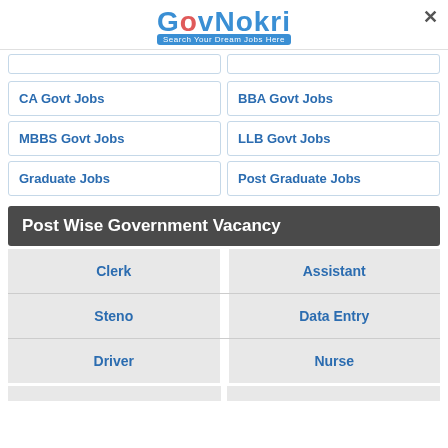[Figure (logo): GovNokri logo with tagline 'Search Your Dream Jobs Here']
CA Govt Jobs
BBA Govt Jobs
MBBS Govt Jobs
LLB Govt Jobs
Graduate Jobs
Post Graduate Jobs
Post Wise Government Vacancy
Clerk
Assistant
Steno
Data Entry
Driver
Nurse